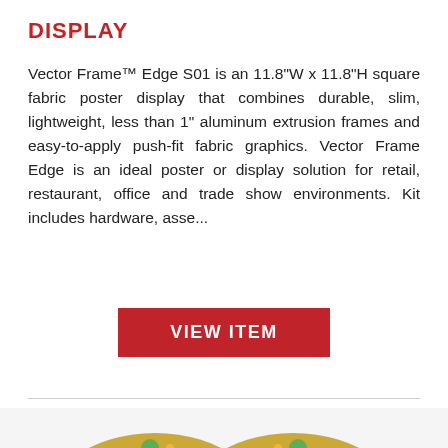DISPLAY
Vector Frame™ Edge S01 is an 11.8"W x 11.8"H square fabric poster display that combines durable, slim, lightweight, less than 1" aluminum extrusion frames and easy-to-apply push-fit fabric graphics. Vector Frame Edge is an ideal poster or display solution for retail, restaurant, office and trade show environments. Kit includes hardware, asse...
[Figure (other): Red button labeled VIEW ITEM]
[Figure (photo): Close-up photo of a jeweled bow tie accessory with colorful gemstones (red, yellow, green, blue) set in gold metal, photographed against a white background]